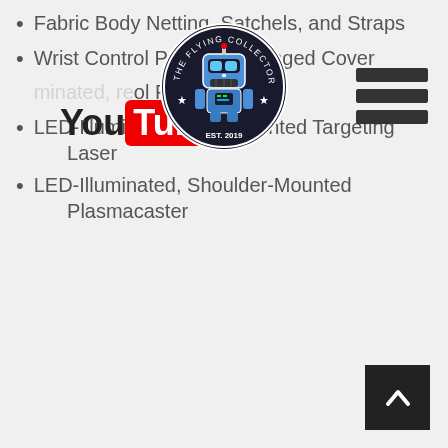Fabric Body Netting, Satchels, and Straps
Wrist Control Panel with Hinged Cover
LED-Illuminated, Retractable Control Panel
LED-Illuminated, Arm-Mounted Targeting Laser
LED-Illuminated, Shoulder-Mounted Plasmacaster
[Figure (logo): YouTube logo with red 'Tube' box]
[Figure (logo): The Flying Collector circular badge logo with robot character, Est. 2019]
[Figure (other): Hamburger menu icon (three horizontal bars)]
[Figure (other): Scroll-to-top button (dark square with upward chevron arrow)]